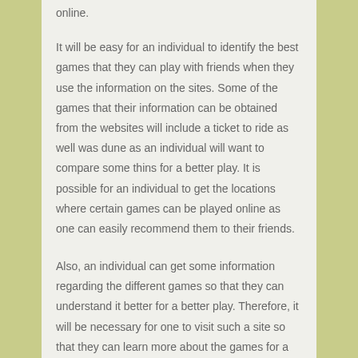online.
It will be easy for an individual to identify the best games that they can play with friends when they use the information on the sites. Some of the games that their information can be obtained from the websites will include a ticket to ride as well was dune as an individual will want to compare some thins for a better play. It is possible for an individual to get the locations where certain games can be played online as one can easily recommend them to their friends.
Also, an individual can get some information regarding the different games so that they can understand it better for a better play. Therefore, it will be necessary for one to visit such a site so that they can learn more about the games for a better play. Some people may as well consider finding information about other games such as monopoly or even